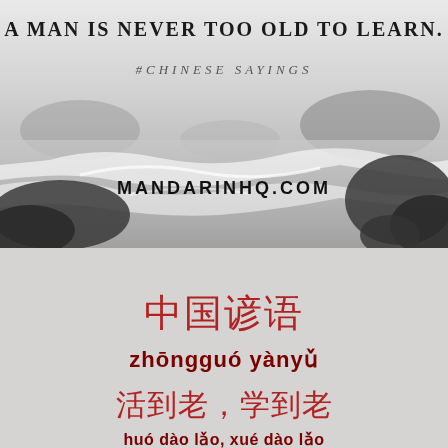A MAN IS NEVER TOO OLD TO LEARN.
#CHINESE SAYINGS
[Figure (photo): Black and white photo of ocean waves crashing against rocky coastline with misty atmosphere, with MANDARINHQ.COM text overlay]
中国谚语
zhōngguó yànyǔ
活到老，学到老
huó dào lǎo, xué dào lǎo